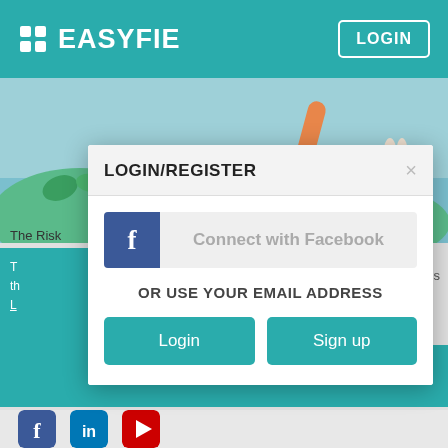EASYFIE  LOGIN
[Figure (screenshot): Background image with illustrated/painted scene in teal and warm colors]
The Risk
LOGIN/REGISTER
[Figure (infographic): Facebook connect button with blue icon box and 'Connect with Facebook' label]
OR USE YOUR EMAIL ADDRESS
Login
Sign up
Got It!
[Figure (logo): Social media icons row: Facebook (blue), LinkedIn (blue), YouTube (red)]